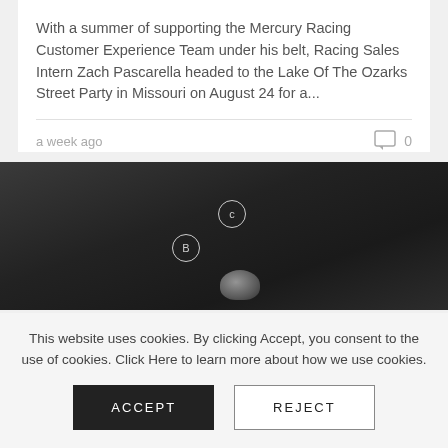With a summer of supporting the Mercury Racing Customer Experience Team under his belt, Racing Sales Intern Zach Pascarella headed to the Lake Of The Ozarks Street Party in Missouri on August 24 for a...
a week ago
[Figure (photo): Dark greyscale photo with two circled labels B and C, and a metallic object in the lower center]
This website uses cookies. By clicking Accept, you consent to the use of cookies. Click Here to learn more about how we use cookies.